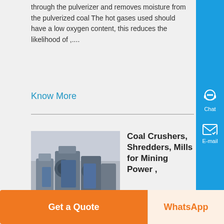through the pulverizer and removes moisture from the pulverized coal The hot gases used should have a low oxygen content, this reduces the likelihood of ,...
Know More
[Figure (photo): Industrial coal crushing machinery, blue-toned equipment in a factory setting]
Coal Crushers, Shredders, Mills for Mining Power ,
Coal Crushing The record speaks for itself since 1908, hundreds of millions of tons of coal have been reduced using American Pulverizer machin We are the standard of comparison for central stations, industrial power plants, and mine preparation plants around the world We make many types of coal crushing equipment, like our ACC Series ....
Get a Quote
WhatsApp